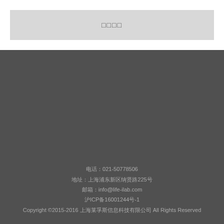[Figure (other): Gray placeholder box with Chinese characters centered]
电话：021-50778506
地址：上海浦东新区纳贤路225号
邮箱：info@life-ilab.com
沪ICP备16001244号-1
Copyright ©2015-2016 上海莱孚斯信息科技有限公司 All Rights Reserved